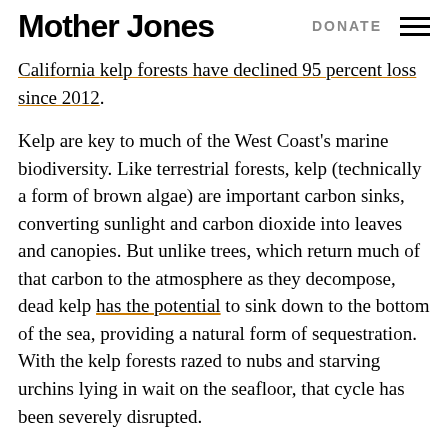Mother Jones | DONATE
California kelp forests have declined 95 percent loss since 2012.
Kelp are key to much of the West Coast's marine biodiversity. Like terrestrial forests, kelp (technically a form of brown algae) are important carbon sinks, converting sunlight and carbon dioxide into leaves and canopies. But unlike trees, which return much of that carbon to the atmosphere as they decompose, dead kelp has the potential to sink down to the bottom of the sea, providing a natural form of sequestration. With the kelp forests razed to nubs and starving urchins lying in wait on the seafloor, that cycle has been severely disrupted.
"Kelp is critically important...